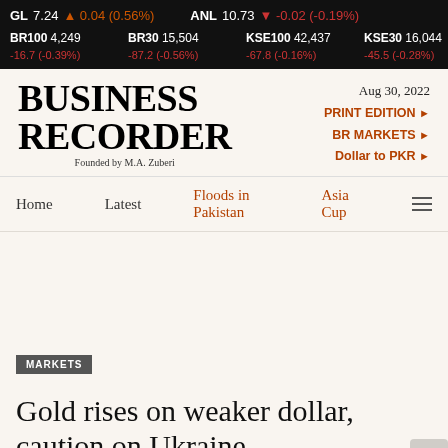GL 7.24 ▲ 0.04 (0.56%)   ANL 10.73 ▼ -0.02 (-0.19%)   BR100 4,249 -16.7 (-0.39%)   BR30 15,504 -87.2 (-0.56%)   KSE100 42,437 -67.8 (-0.16%)   KSE30 16,044 -45.5 (-0.28%)
[Figure (logo): Business Recorder logo with 'Founded by M.A. Zuberi']
Aug 30, 2022
PRINT EDITION ►
BR MARKETS ►
Dollar to PKR ►
Home   Latest   Floods in Pakistan   Asia Cup
MARKETS
Gold rises on weaker dollar, caution on Ukraine